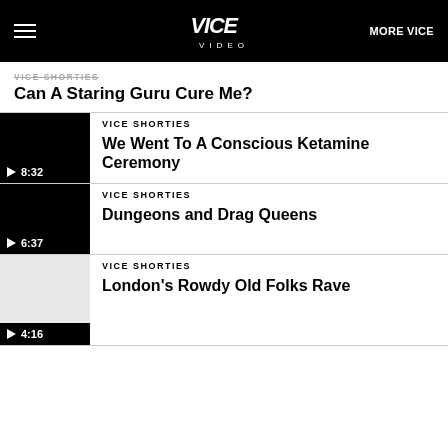VICE VIDEO | MORE VICE
VICE SHORTIES (partial, clipped)
Can A Staring Guru Cure Me?
[Figure (screenshot): Black video thumbnail with play button and duration 8:32]
VICE SHORTIES
We Went To A Conscious Ketamine Ceremony
[Figure (screenshot): Black video thumbnail with play button and duration 6:37]
VICE SHORTIES
Dungeons and Drag Queens
[Figure (screenshot): Gray video thumbnail with play button and duration 4:16]
VICE SHORTIES
London's Rowdy Old Folks Rave